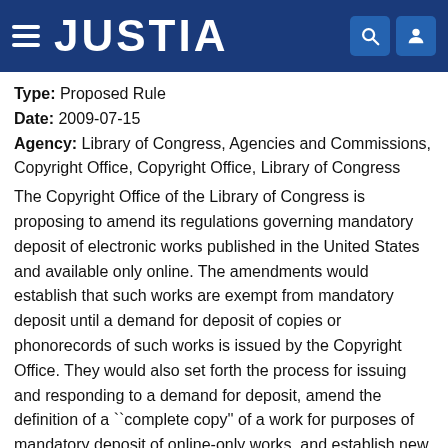JUSTIA
Type: Proposed Rule
Date: 2009-07-15
Agency: Library of Congress, Agencies and Commissions, Copyright Office, Copyright Office, Library of Congress
The Copyright Office of the Library of Congress is proposing to amend its regulations governing mandatory deposit of electronic works published in the United States and available only online. The amendments would establish that such works are exempt from mandatory deposit until a demand for deposit of copies or phonorecords of such works is issued by the Copyright Office. They would also set forth the process for issuing and responding to a demand for deposit, amend the definition of a ``complete copy'' of a work for purposes of mandatory deposit of online-only works, and establish new best edition criteria for